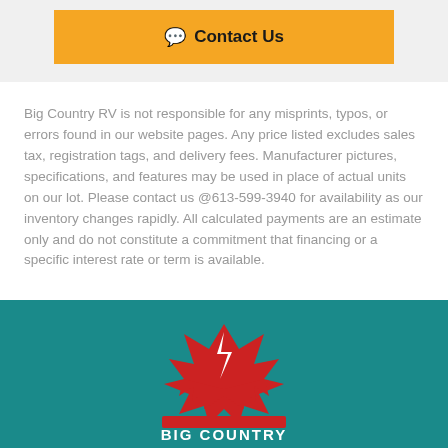[Figure (other): Contact Us button with chat icon, orange/yellow background]
Big Country RV is not responsible for any misprints, typos, or errors found in our website pages. Any price listed excludes sales tax, registration tags, and delivery fees. Manufacturer pictures, specifications, and features may be used in place of actual units on our lot. Please contact us @613-599-3940 for availability as our inventory changes rapidly. All calculated payments are an estimate only and do not constitute a commitment that financing or a specific interest rate or term is available.
[Figure (logo): Big Country RV logo on teal footer background with accessibility icon]